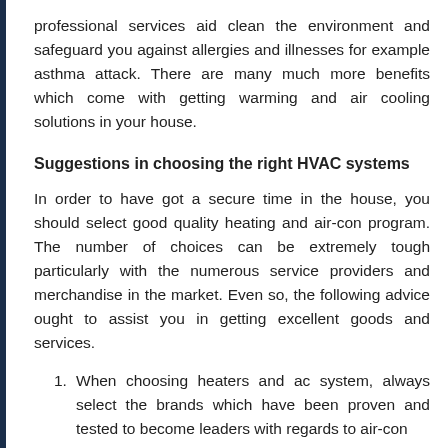professional services aid clean the environment and safeguard you against allergies and illnesses for example asthma attack. There are many much more benefits which come with getting warming and air cooling solutions in your house.
Suggestions in choosing the right HVAC systems
In order to have got a secure time in the house, you should select good quality heating and air-con program. The number of choices can be extremely tough particularly with the numerous service providers and merchandise in the market. Even so, the following advice ought to assist you in getting excellent goods and services.
When choosing heaters and ac system, always select the brands which have been proven and tested to become leaders with regards to air-con